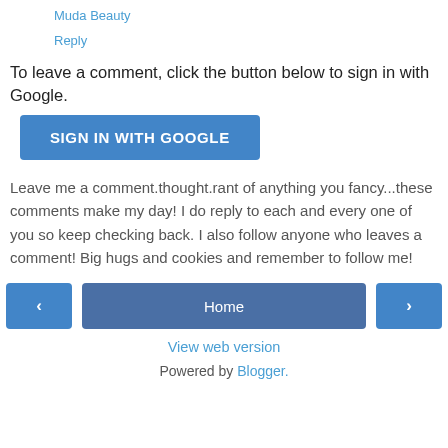Muda Beauty
Reply
To leave a comment, click the button below to sign in with Google.
[Figure (other): Blue button labeled SIGN IN WITH GOOGLE]
Leave me a comment.thought.rant of anything you fancy...these comments make my day! I do reply to each and every one of you so keep checking back. I also follow anyone who leaves a comment! Big hugs and cookies and remember to follow me!
[Figure (other): Navigation row with left arrow button, Home button, and right arrow button]
View web version
Powered by Blogger.